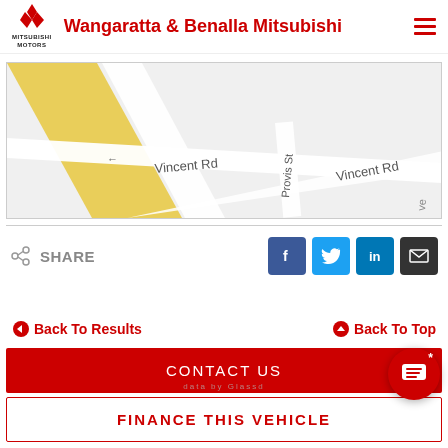Wangaratta & Benalla Mitsubishi
[Figure (map): Street map showing Vincent Rd intersection with Provis St, roads labeled with Vincent Rd appearing twice]
SHARE
Back To Results
Back To Top
CONTACT US
FINANCE THIS VEHICLE